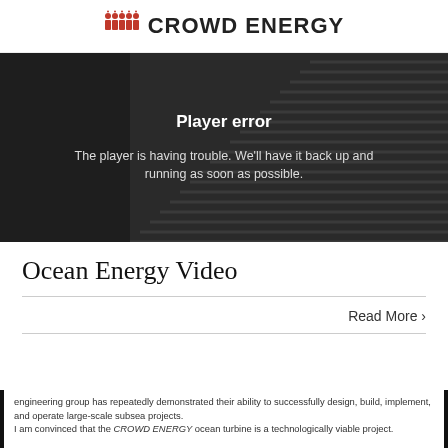CROWD ENERGY
[Figure (screenshot): Video player error screen with dark background showing 'Player error' title and message: The player is having trouble. We'll have it back up and running as soon as possible.]
Ocean Energy Video
Read More >
engineering group has repeatedly demonstrated their ability to successfully design, build, implement, and operate large-scale subsea projects. I am convinced that the CROWD ENERGY ocean turbine is a technologically viable project.